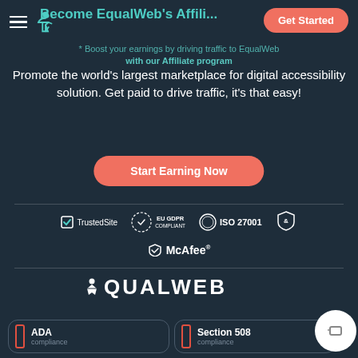Become EqualWeb's Affiliate — Get Started
Boost your earnings by driving traffic to EqualWeb with our Affiliate program
Promote the world's largest marketplace for digital accessibility solution. Get paid to drive traffic, it's that easy!
Start Earning Now
[Figure (logo): TrustedSite, EU GDPR Compliant, ISO 27001, and another security badge]
McAfee
[Figure (logo): EQUALWEB large footer logo with accessibility icon]
ADA compliance
Section 508 compliance